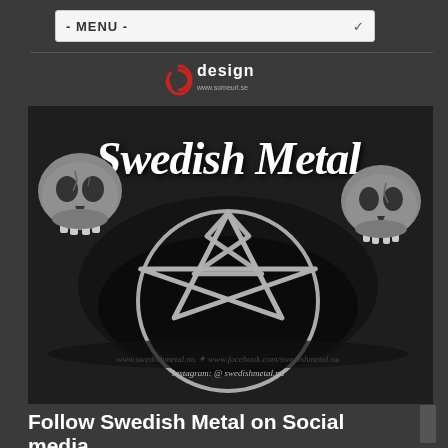- MENU -
[Figure (logo): Spinning design logo with text 'design' and website URL]
[Figure (illustration): Swedish Metal band logo with two skulls flanking a pentagram star, gothic blackletter font reading 'Swedish Metal', with website URLs at bottom: www.swedishmetal.nu, www.facebook.com/swedishmetal.nu, Instagram: @swedishmetal.nu]
Follow Swedish Metal on Social media